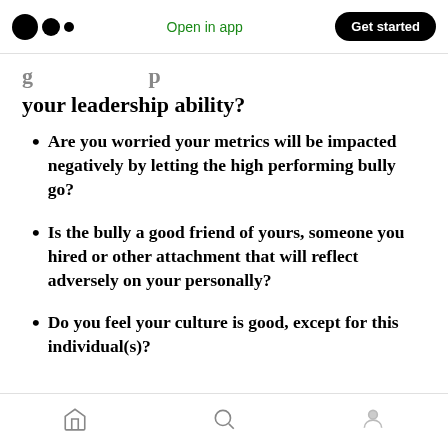Medium app bar — Open in app | Get started
your leadership ability?
Are you worried your metrics will be impacted negatively by letting the high performing bully go?
Is the bully a good friend of yours, someone you hired or other attachment that will reflect adversely on your personally?
Do you feel your culture is good, except for this individual(s)?
Bottom navigation bar — Home | Search | Profile